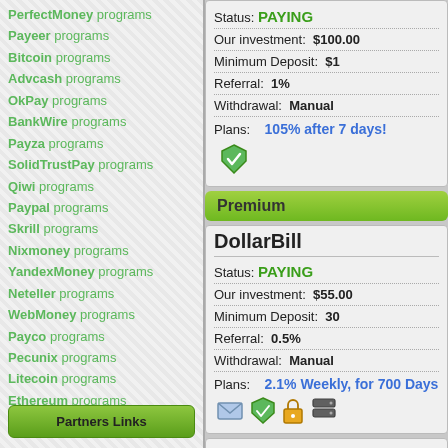PerfectMoney programs
Payeer programs
Bitcoin programs
Advcash programs
OkPay programs
BankWire programs
Payza programs
SolidTrustPay programs
Qiwi programs
Paypal programs
Skrill programs
Nixmoney programs
YandexMoney programs
Neteller programs
WebMoney programs
Payco programs
Pecunix programs
Litecoin programs
Ethereum programs
Bitcoin Cash programs
Partners Links
Status: PAYING | Our investment: $100.00 | Minimum Deposit: $1 | Referral: 1% | Withdrawal: Manual | Plans: 105% after 7 days!
Premium
DollarBill
Status: PAYING | Our investment: $55.00 | Minimum Deposit: 30 | Referral: 0.5% | Withdrawal: Manual | Plans: 2.1% Weekly, for 700 Days
Funds Broker